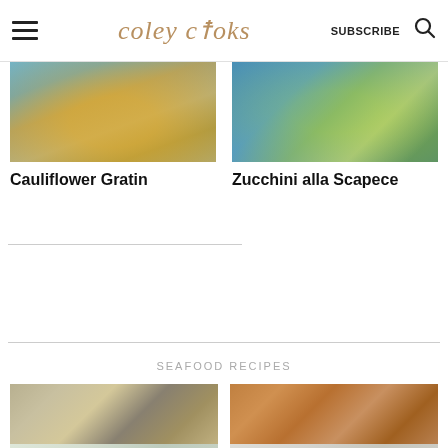coley cooks | SUBSCRIBE
[Figure (photo): Cauliflower gratin in a white baking dish with golden breadcrumb topping, partially cropped at top]
Cauliflower Gratin
[Figure (photo): Zucchini alla Scapece on a blue plate with herbs and sliced zucchini rounds, partially cropped at top]
Zucchini alla Scapece
SEAFOOD RECIPES
[Figure (photo): Oysters or clams on a wooden board with bread, top portion visible]
[Figure (photo): Crab cakes or seafood patties in a bowl, top portion visible]
[Figure (photo): Faded/partially visible seafood dish, bottom portion]
[Figure (photo): Faded/partially visible seafood dish, bottom portion]